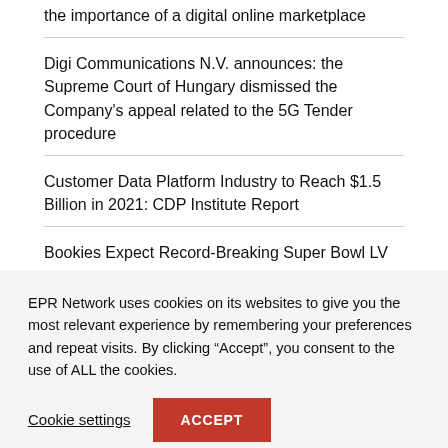the importance of a digital online marketplace
Digi Communications N.V. announces: the Supreme Court of Hungary dismissed the Company’s appeal related to the 5G Tender procedure
Customer Data Platform Industry to Reach $1.5 Billion in 2021: CDP Institute Report
Bookies Expect Record-Breaking Super Bowl LV Action
Donna Thomas Joins Visual Data Media Services as Senior Vice President of Sales, Americas
EPR Network uses cookies on its websites to give you the most relevant experience by remembering your preferences and repeat visits. By clicking “Accept”, you consent to the use of ALL the cookies.
Cookie settings  ACCEPT